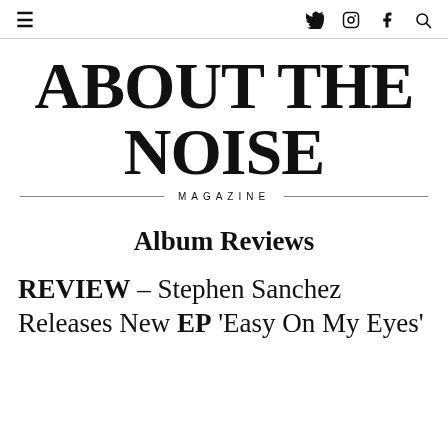≡   𝕏  📷  f  🔍
ABOUT THE NOISE
MAGAZINE
Album Reviews
REVIEW – Stephen Sanchez Releases New EP 'Easy On My Eyes'